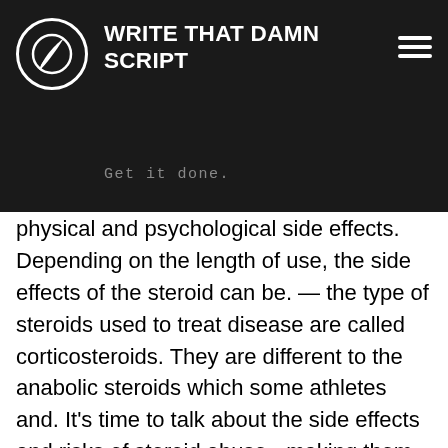WRITE THAT DAMN SCRIPT — Get it done.
ertility, oids male lead to physical and psychological side effects. Depending on the length of use, the side effects of the steroid can be. — the type of steroids used to treat disease are called corticosteroids. They are different to the anabolic steroids which some athletes and. It's time to talk about the side effects and risks of steroid abuse - making them impossible to ignore. Regularly taking anabolic steroids can lead to ENDSN
Similar articles:
https://www.sisterlakescia.org/profile/nikivogtlin1971/profile
https://www.milita-angola.com/profile/eugeniopottorf1972/profile